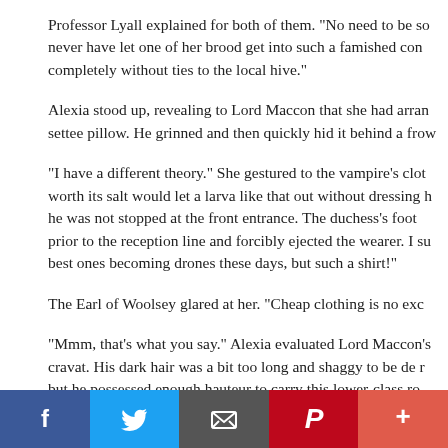Professor Lyall explained for both of them. "No need to be so never have let one of her brood get into such a famished con completely without ties to the local hive."
Alexia stood up, revealing to Lord Maccon that she had arran settee pillow. He grinned and then quickly hid it behind a frow
"I have a different theory." She gestured to the vampire's clot worth its salt would let a larva like that out without dressing h he was not stopped at the front entrance. The duchess's foot prior to the reception line and forcibly ejected the wearer. I su best ones becoming drones these days, but such a shirt!"
The Earl of Woolsey glared at her. "Cheap clothing is no exc
"Mmm, that's what you say." Alexia evaluated Lord Maccon's cravat. His dark hair was a bit too long and shaggy to be de r but he possessed enough hauteur to carry this lower-class ro certain that his silver and black paisley cravat must be tied ur
[Figure (infographic): Social media sharing bar with Facebook (blue), Twitter (light blue), Email (dark gray), Pinterest (red), More (orange-red) buttons]